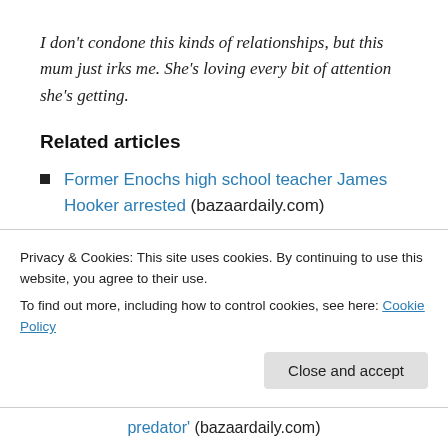I don't condone this kinds of relationships, but this mum just irks me. She's loving every bit of attention she's getting.
Related articles
Former Enochs high school teacher James Hooker arrested (bazaardaily.com)
Calif student moves out of James Hookers home following sexual assault arrest (bazaardaily.com)
Privacy & Cookies: This site uses cookies. By continuing to use this website, you agree to their use. To find out more, including how to control cookies, see here: Cookie Policy
predator' (bazaardaily.com)